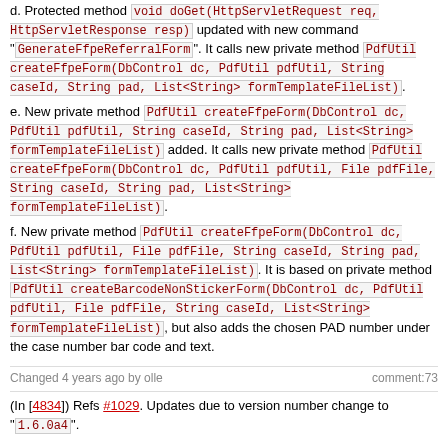d. Protected method void doGet(HttpServletRequest req, HttpServletResponse resp) updated with new command "GenerateFfpeReferralForm". It calls new private method PdfUtil createFfpeForm(DbControl dc, PdfUtil pdfUtil, String caseId, String pad, List<String> formTemplateFileList).
e. New private method PdfUtil createFfpeForm(DbControl dc, PdfUtil pdfUtil, String caseId, String pad, List<String> formTemplateFileList) added. It calls new private method PdfUtil createFfpeForm(DbControl dc, PdfUtil pdfUtil, File pdfFile, String caseId, String pad, List<String> formTemplateFileList).
f. New private method PdfUtil createFfpeForm(DbControl dc, PdfUtil pdfUtil, File pdfFile, String caseId, String pad, List<String> formTemplateFileList). It is based on private method PdfUtil createBarcodeNonStickerForm(DbControl dc, PdfUtil pdfUtil, File pdfFile, String caseId, List<String> formTemplateFileList), but also adds the chosen PAD number under the case number bar code and text.
Changed 4 years ago by olle
comment:73
(In [4834]) Refs #1029. Updates due to version number change to "1.6.0a4".